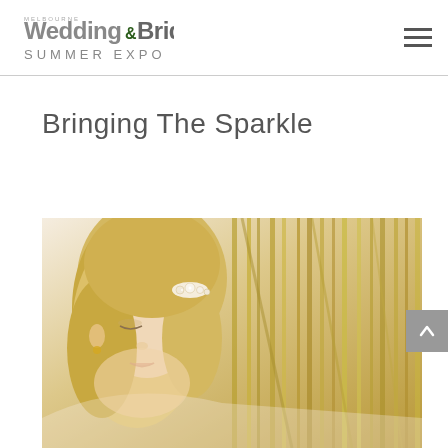Wedding & Bride Summer Expo
Bringing The Sparkle
[Figure (photo): A blonde bride wearing a pearl and crystal hair accessory, photographed outdoors among tall yellow-green bamboo or willow stems.]